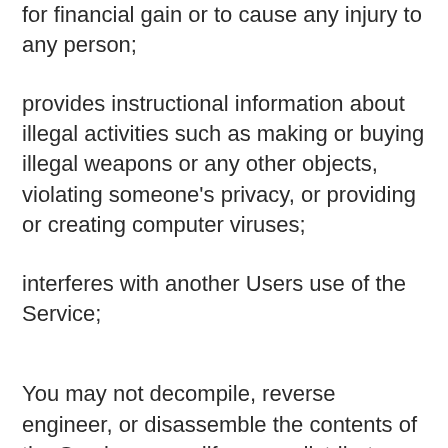for financial gain or to cause any injury to any person;
provides instructional information about illegal activities such as making or buying illegal weapons or any other objects, violating someone's privacy, or providing or creating computer viruses;
interferes with another Users use of the Service;
You may not decompile, reverse engineer, or disassemble the contents of the Service or modify, copy, distribute, transmit, display, perform, reproduce, publish, license, create derivative works from, transfer, or sell any information or software obtained from the Service or remove any copyright, trademark registration, or other proprietary notices from the contents of the Service; and